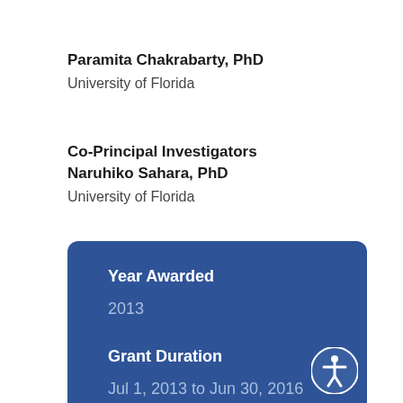Paramita Chakrabarty, PhD
University of Florida
Co-Principal Investigators
Naruhiko Sahara, PhD
University of Florida
Year Awarded
2013
Grant Duration
Jul 1, 2013 to Jun 30, 2016